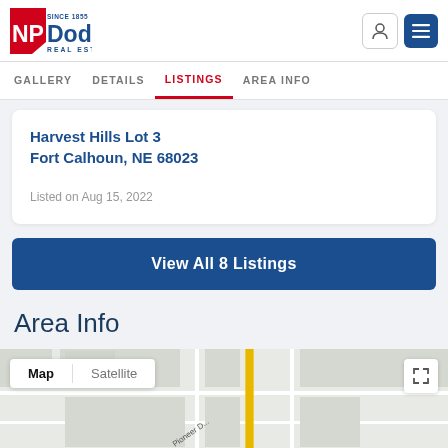[Figure (logo): NP Dodge Real Estate logo with red block and blue text, 'SINCE 1855' tagline]
GALLERY   DETAILS   LISTINGS   AREA INFO
Harvest Hills Lot 3
Fort Calhoun, NE 68023
Listed on Aug 15, 2022
View All 8 Listings
Area Info
[Figure (map): Google Map showing street grid with Pioneer Drive label and a yellow highlighted road. Map/Satellite toggle in top left, expand button top right.]